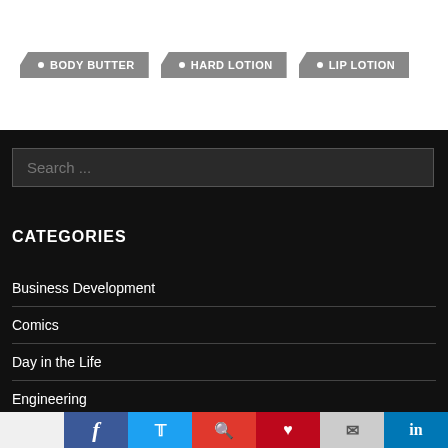• BODY BUTTER
• HARD LOTION
• LIP LOTION
Search ...
CATEGORIES
Business Development
Comics
Day in the Life
Engineering